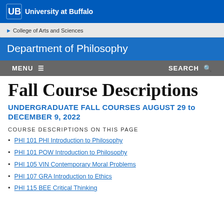University at Buffalo
College of Arts and Sciences
Department of Philosophy
MENU  SEARCH
Fall Course Descriptions
UNDERGRADUATE FALL COURSES AUGUST 29 to DECEMBER 9, 2022
COURSE DESCRIPTIONS ON THIS PAGE
PHI 101 PHI Introduction to Philosophy
PHI 101 POW Introduction to Philosophy
PHI 105 VIN Contemporary Moral Problems
PHI 107 GRA Introduction to Ethics
PHI 115 BEE Critical Thinking